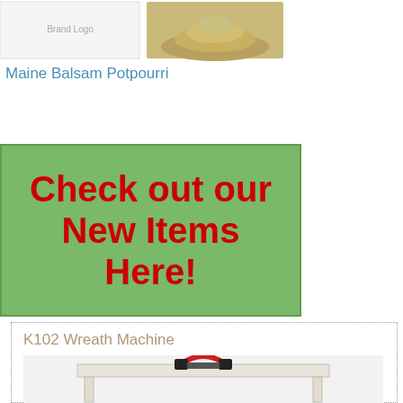[Figure (photo): Product image showing Maine Balsam Potpourri — logo/brand image on left and a pile of balsam potpourri on right]
Maine Balsam Potpourri
[Figure (infographic): Green banner with bold red text reading 'Check out our New Items Here!']
K102 Wreath Machine
[Figure (photo): Photo of K102 Wreath Machine — a white metal table-style machine with red and black mechanical components on top]